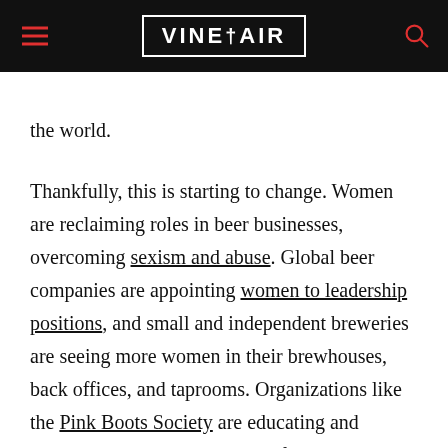VINEPAIR
the world.
Thankfully, this is starting to change. Women are reclaiming roles in beer businesses, overcoming sexism and abuse. Global beer companies are appointing women to leadership positions, and small and independent breweries are seeing more women in their brewhouses, back offices, and taprooms. Organizations like the Pink Boots Society are educating and championing women in the profession, and festivals around the country are